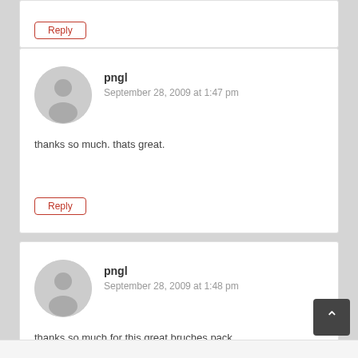Reply
pngl
September 28, 2009 at 1:47 pm
thanks so much. thats great.
Reply
pngl
September 28, 2009 at 1:48 pm
thanks so much for this great bruches pack
Reply